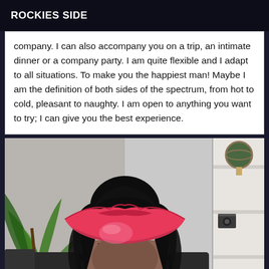ROCKIES SIDE
company. I can also accompany you on a trip, an intimate dinner or a company party. I am quite flexible and I adapt to all situations. To make you the happiest man! Maybe I am the definition of both sides of the spectrum, from hot to cold, pleasant to naughty. I am open to anything you want to try; I can give you the best experience.
[Figure (photo): A woman with long dark curly hair with a large pink/red lips graphic covering her face, seated indoors. A plant is visible to the left and a white shelf unit to the right.]